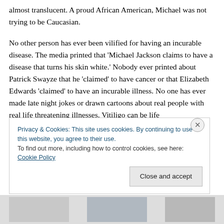almost translucent. A proud African American, Michael was not trying to be Caucasian.
No other person has ever been vilified for having an incurable disease. The media printed that 'Michael Jackson claims to have a disease that turns his skin white.' Nobody ever printed about Patrick Swayze that he 'claimed' to have cancer or that Elizabeth Edwards 'claimed' to have an incurable illness. No one has ever made late night jokes or drawn cartoons about real people with real life threatening illnesses. Vitiligo can be life
Privacy & Cookies: This site uses cookies. By continuing to use this website, you agree to their use.
To find out more, including how to control cookies, see here: Cookie Policy